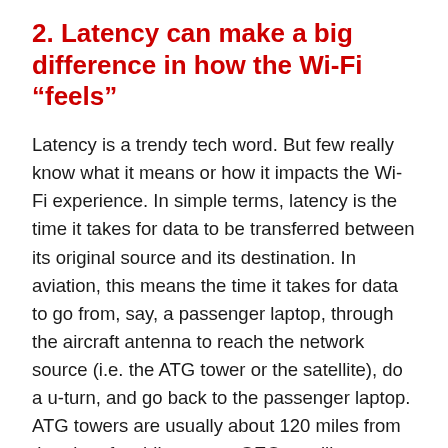2. Latency can make a big difference in how the Wi-Fi “feels”
Latency is a trendy tech word. But few really know what it means or how it impacts the Wi-Fi experience. In simple terms, latency is the time it takes for data to be transferred between its original source and its destination. In aviation, this means the time it takes for data to go from, say, a passenger laptop, through the aircraft antenna to reach the network source (i.e. the ATG tower or the satellite), do a u-turn, and go back to the passenger laptop. ATG towers are usually about 120 miles from the aircraft, while current GEO satellite solutions tend to be 22,000 miles away from the aircraft. That’s a big difference.